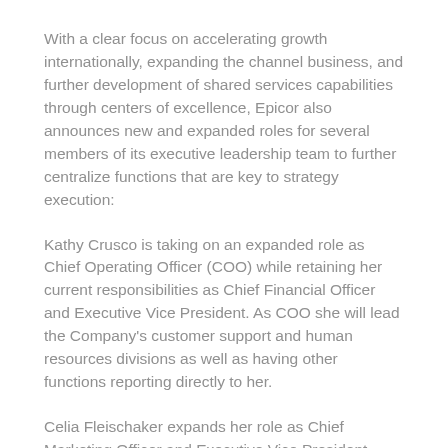With a clear focus on accelerating growth internationally, expanding the channel business, and further development of shared services capabilities through centers of excellence, Epicor also announces new and expanded roles for several members of its executive leadership team to further centralize functions that are key to strategy execution:
Kathy Crusco is taking on an expanded role as Chief Operating Officer (COO) while retaining her current responsibilities as Chief Financial Officer and Executive Vice President. As COO she will lead the Company's customer support and human resources divisions as well as having other functions reporting directly to her.
Celia Fleischaker expands her role as Chief Marketing Officer and Executive Vice President beyond corporate marketing to include field marketing, teleprospecting, and product marketing.